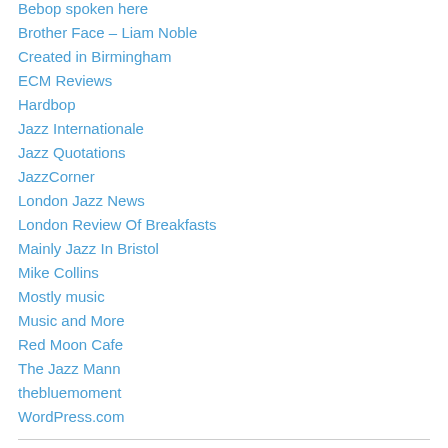Bebop spoken here
Brother Face – Liam Noble
Created in Birmingham
ECM Reviews
Hardbop
Jazz Internationale
Jazz Quotations
JazzCorner
London Jazz News
London Review Of Breakfasts
Mainly Jazz In Bristol
Mike Collins
Mostly music
Music and More
Red Moon Cafe
The Jazz Mann
thebluemoment
WordPress.com